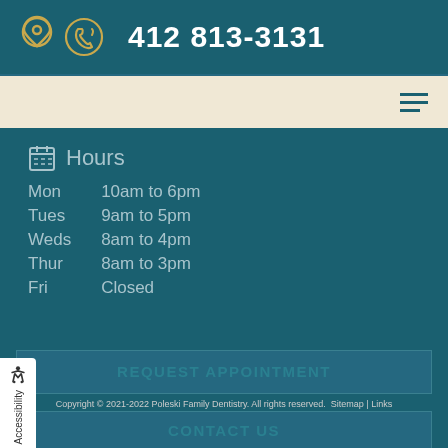412 813-3131
| Day | Hours |
| --- | --- |
| Mon | 10am to 6pm |
| Tues | 9am to 5pm |
| Weds | 8am to 4pm |
| Thur | 8am to 3pm |
| Fri | Closed |
REQUEST APPOINTMENT
Copyright © 2021-2022 Poleski Family Dentistry. All rights reserved. Sitemap | Links
CONTACT US
Poleski Family Dentistry, 1209 PA-885, Jefferson Hills, PA 15025 | 412 813-3131 | poleskidentistry.com | 8/13/2022 | Page
Terms: dentist Jefferson Hills PA |